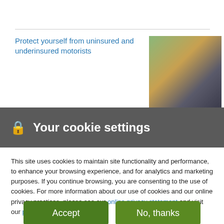Protect yourself from uninsured and underinsured motorists
[Figure (photo): Two cars in a collision with autumn foliage in background]
Your cookie settings
This site uses cookies to maintain site functionality and performance, to enhance your browsing experience, and for analytics and marketing purposes. If you continue browsing, you are consenting to the use of cookies. For more information about our use of cookies and our online privacy practices, please see our online privacy statement and visit our privacy center.